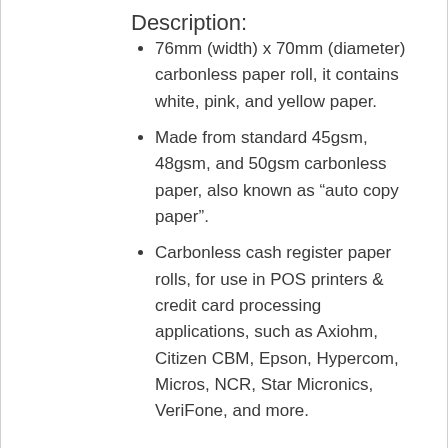Description:
76mm (width) x 70mm (diameter) carbonless paper roll, it contains white, pink, and yellow paper.
Made from standard 45gsm, 48gsm, and 50gsm carbonless paper, also known as “auto copy paper”.
Carbonless cash register paper rolls, for use in POS printers & credit card processing applications, such as Axiohm, Citizen CBM, Epson, Hypercom, Micros, NCR, Star Micronics, VeriFone, and more.